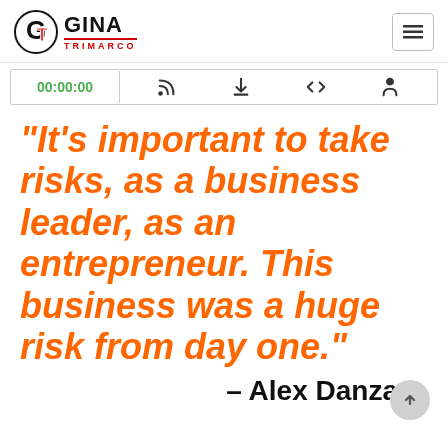Gina Trimarco
00:00:00
“It’s important to take risks, as a business leader, as an entrepreneur. This business was a huge risk from day one.”
– Alex Danza